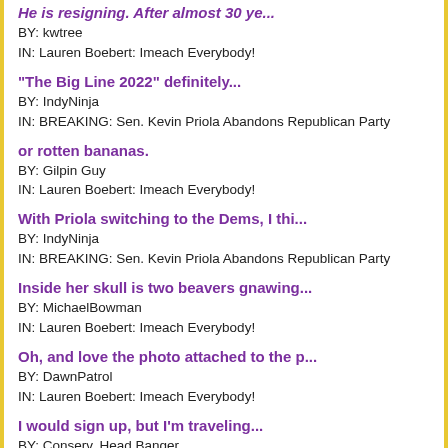He is resigning. After almost 30 ye...
BY: kwtree
IN: Lauren Boebert: Imeach Everybody!
"The Big Line 2022" definitely...
BY: IndyNinja
IN: BREAKING: Sen. Kevin Priola Abandons Republican Party
or rotten bananas.
BY: Gilpin Guy
IN: Lauren Boebert: Imeach Everybody!
With Priola switching to the Dems, I thi...
BY: IndyNinja
IN: BREAKING: Sen. Kevin Priola Abandons Republican Party
Inside her skull is two beavers gnawing...
BY: MichaelBowman
IN: Lauren Boebert: Imeach Everybody!
Oh, and love the photo attached to the p...
BY: DawnPatrol
IN: Lauren Boebert: Imeach Everybody!
I would sign up, but I'm traveling...
BY: Conserv. Head Banger